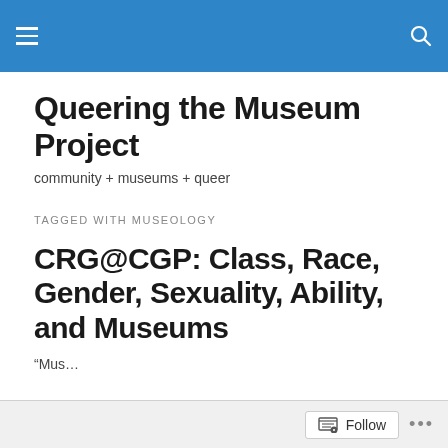Queering the Museum Project
Queering the Museum Project
community + museums + queer
TAGGED WITH MUSEOLOGY
CRG@CGP: Class, Race, Gender, Sexuality, Ability, and Museums
“Mus...